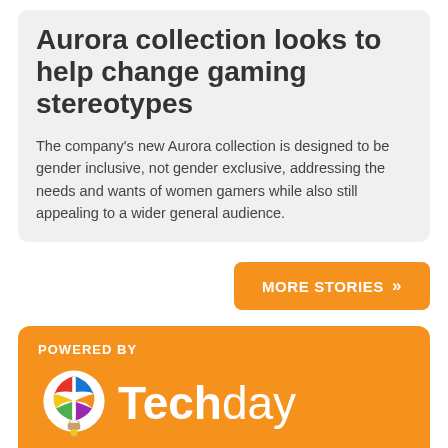Aurora collection looks to help change gaming stereotypes
The company's new Aurora collection is designed to be gender inclusive, not gender exclusive, addressing the needs and wants of women gamers while also still appealing to a wider general audience.
MORE STORIES »»
POWERED BY
[Figure (logo): Techday logo: colorful hot air balloon icon next to the word Techday in white on orange background]
Kiwi owned and operated